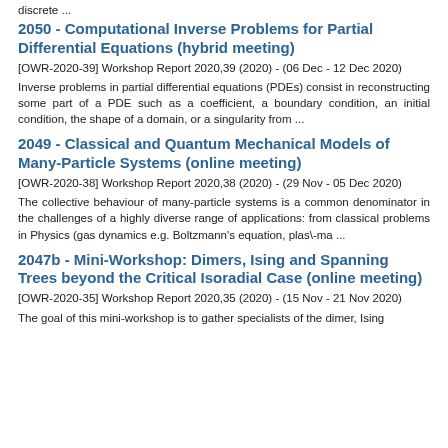discrete ...
2050 - Computational Inverse Problems for Partial Differential Equations (hybrid meeting)
[OWR-2020-39] Workshop Report 2020,39 (2020) - (06 Dec - 12 Dec 2020)
Inverse problems in partial differential equations (PDEs) consist in reconstructing some part of a PDE such as a coefficient, a boundary condition, an initial condition, the shape of a domain, or a singularity from ...
2049 - Classical and Quantum Mechanical Models of Many-Particle Systems (online meeting)
[OWR-2020-38] Workshop Report 2020,38 (2020) - (29 Nov - 05 Dec 2020)
The collective behaviour of many-particle systems is a common denominator in the challenges of a highly diverse range of applications: from classical problems in Physics (gas dynamics e.g. Boltzmann's equation, plas\-ma ...
2047b - Mini-Workshop: Dimers, Ising and Spanning Trees beyond the Critical Isoradial Case (online meeting)
[OWR-2020-35] Workshop Report 2020,35 (2020) - (15 Nov - 21 Nov 2020)
The goal of this mini-workshop is to gather specialists of the dimer, Ising and spanning tree models, and to share ongoing work on various associated ...